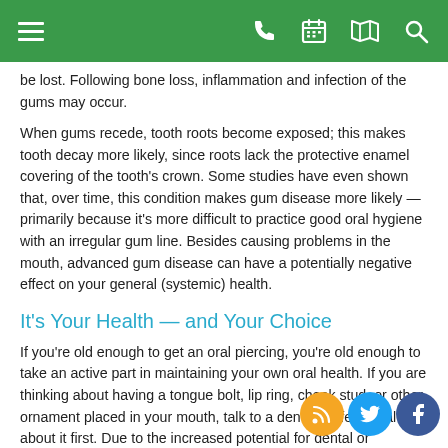Navigation bar with menu, phone, calendar, map, search icons
be lost. Following bone loss, inflammation and infection of the gums may occur.
When gums recede, tooth roots become exposed; this makes tooth decay more likely, since roots lack the protective enamel covering of the tooth's crown. Some studies have even shown that, over time, this condition makes gum disease more likely — primarily because it's more difficult to practice good oral hygiene with an irregular gum line. Besides causing problems in the mouth, advanced gum disease can have a potentially negative effect on your general (systemic) health.
It's Your Health — and Your Choice
If you're old enough to get an oral piercing, you're old enough to take an active part in maintaining your own oral health. If you are thinking about having a tongue bolt, lip ring, cheek stud, or other ornament placed in your mouth, talk to a dental professional about it first. Due to the increased potential for dental or periodontal problems, you will likely need to have more frequent checkups, pay special attention to your oral hygiene.